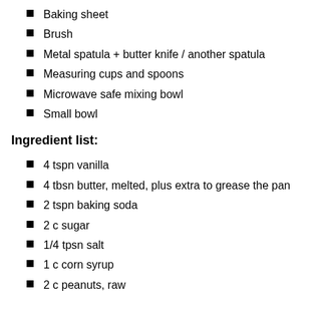Baking sheet
Brush
Metal spatula + butter knife / another spatula
Measuring cups and spoons
Microwave safe mixing bowl
Small bowl
Ingredient list:
4 tspn vanilla
4 tbsn butter, melted, plus extra to grease the pan
2 tspn baking soda
2 c sugar
1/4 tpsn salt
1 c corn syrup
2 c peanuts, raw